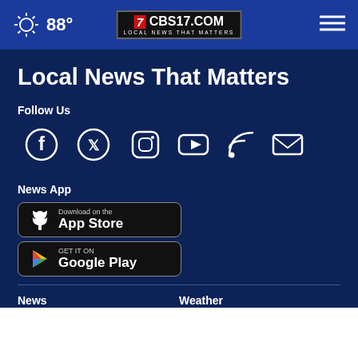88° — CBS17.COM LOCAL NEWS THAT MATTERS
Local News That Matters
Follow Us
[Figure (infographic): Social media icons: Facebook, Twitter, Instagram, YouTube, RSS feed, Email]
News App
[Figure (infographic): Download on the App Store badge]
[Figure (infographic): GET IT ON Google Play badge]
News    Weather